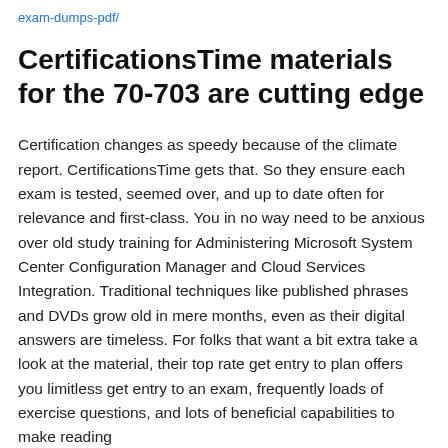exam-dumps-pdf/
CertificationsTime materials for the 70-703 are cutting edge
Certification changes as speedy because of the climate report. CertificationsTime gets that. So they ensure each exam is tested, seemed over, and up to date often for relevance and first-class. You in no way need to be anxious over old study training for Administering Microsoft System Center Configuration Manager and Cloud Services Integration. Traditional techniques like published phrases and DVDs grow old in mere months, even as their digital answers are timeless. For folks that want a bit extra take a look at the material, their top rate get entry to plan offers you limitless get entry to an exam, frequently loads of exercise questions, and lots of beneficial capabilities to make reading